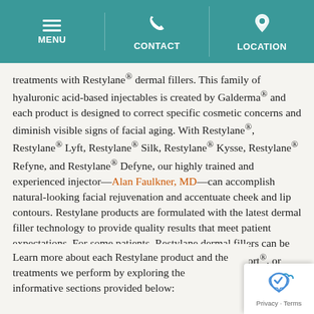MENU | CONTACT | LOCATION
treatments with Restylane® dermal fillers. This family of hyaluronic acid-based injectables is created by Galderma® and each product is designed to correct specific cosmetic concerns and diminish visible signs of facial aging. With Restylane®, Restylane® Lyft, Restylane® Silk, Restylane® Kysse, Restylane® Refyne, and Restylane® Defyne, our highly trained and experienced injector—Alan Faulkner, MD—can accomplish natural-looking facial rejuvenation and accentuate cheek and lip contours. Restylane products are formulated with the latest dermal filler technology to provide quality results that meet patient expectations. For some patients, Restylane dermal fillers can be combined with BOTOX® Cosmetic, Jeuveau™, Dysport®, or laser skin rejuvenation into a custom treatment plan for optimal results.
Learn more about each Restylane product and the treatments we perform by exploring the informative sections provided below: